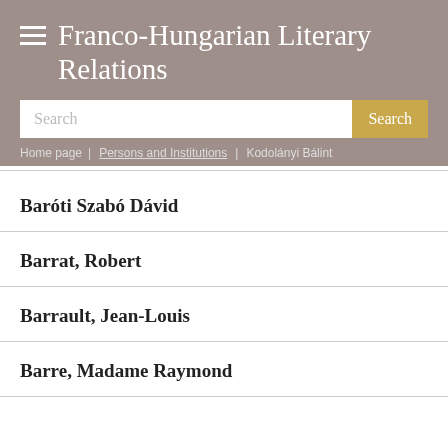Franco-Hungarian Literary Relations
Search | Search button | Home page > Persons and Institutions > Kodolányi Bálint
Baróti Szabó Dávid
Barrat, Robert
Barrault, Jean-Louis
Barre, Madame Raymond